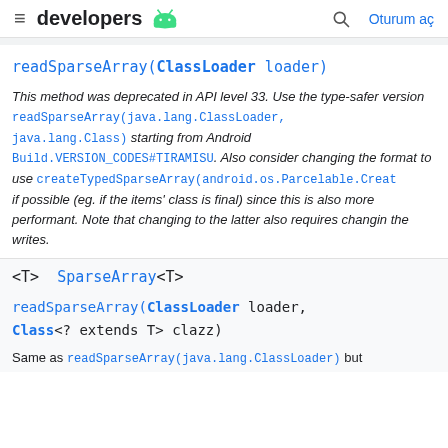developers  [android icon]  [search]  Oturum aç
readSparseArray(ClassLoader loader)
This method was deprecated in API level 33. Use the type-safer version readSparseArray(java.lang.ClassLoader, java.lang.Class) starting from Android Build.VERSION_CODES#TIRAMISU. Also consider changing the format to use createTypedSparseArray(android.os.Parcelable.Creat if possible (eg. if the items' class is final) since this is also more performant. Note that changing to the latter also requires changin the writes.
<T>  SparseArray<T>
readSparseArray(ClassLoader loader, Class<? extends T> clazz)
Same as readSparseArray(java.lang.ClassLoader) but